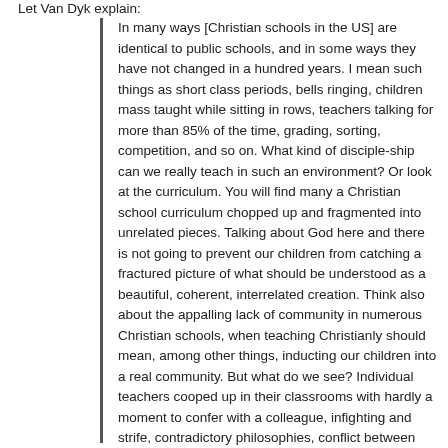Let Van Dyk explain:
In many ways [Christian schools in the US] are identical to public schools, and in some ways they have not changed in a hundred years. I mean such things as short class periods, bells ringing, children mass taught while sitting in rows, teachers talking for more than 85% of the time, grading, sorting, competition, and so on. What kind of disciple-ship can we really teach in such an environment? Or look at the curriculum. You will find many a Christian school curriculum chopped up and fragmented into unrelated pieces. Talking about God here and there is not going to prevent our children from catching a fractured picture of what should be understood as a beautiful, coherent, interrelated creation. Think also about the appalling lack of community in numerous Christian schools, when teaching Christianly should mean, among other things, inducting our children into a real community. But what do we see? Individual teachers cooped up in their classrooms with hardly a moment to confer with a colleague, infighting and strife, contradictory philosophies, conflict between